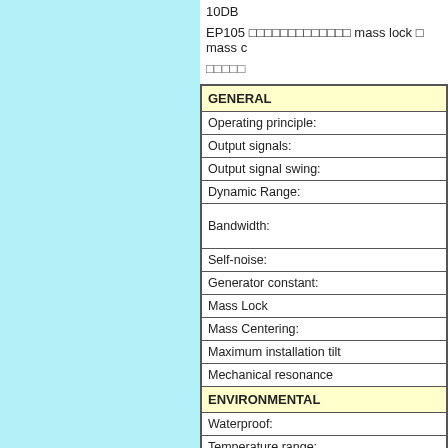10DB 
EP105              mass lock   mass c
     
| Parameter |
| --- |
| GENERAL |
| Operating principle: |
| Output signals: |
| Output signal swing: |
| Dynamic Range: |
| Bandwidth: |
| Self-noise: |
| Generator constant: |
| Mass Lock |
| Mass Centering: |
| Maximum installation tilt |
| Mechanical resonance |
| ENVIRONMENTAL |
| Waterproof: |
| Temperature range: |